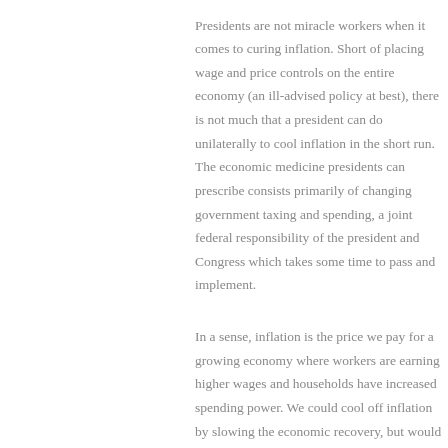Presidents are not miracle workers when it comes to curing inflation. Short of placing wage and price controls on the entire economy (an ill-advised policy at best), there is not much that a president can do unilaterally to cool inflation in the short run. The economic medicine presidents can prescribe consists primarily of changing government taxing and spending, a joint federal responsibility of the president and Congress which takes some time to pass and implement.
In a sense, inflation is the price we pay for a growing economy where workers are earning higher wages and households have increased spending power. We could cool off inflation by slowing the economic recovery, but would